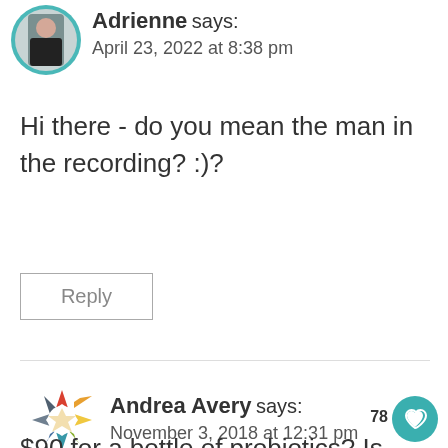[Figure (photo): Profile photo of Adrienne - woman with dark hair, circular teal border]
Adrienne says:
April 23, 2022 at 8:38 pm
Hi there - do you mean the man in the recording? :)?
Reply
[Figure (logo): Andrea Avery avatar - colorful starburst/flower logo with red, yellow, teal, grey petals]
Andrea Avery says:
November 3, 2018 at 12:31 pm
$90 for a bottle of probiotics? Is this a one month supply?? This is the most expensive probiotic I have ever seen and I